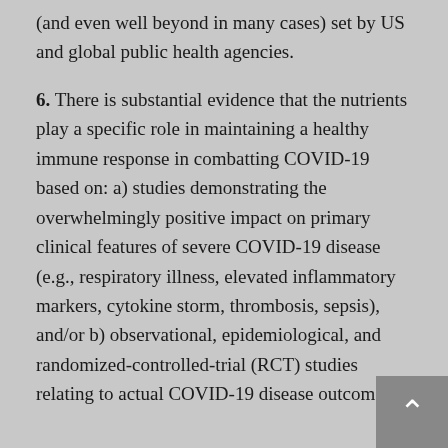(and even well beyond in many cases) set by US and global public health agencies.
6.  There is substantial evidence that the nutrients play a specific role in maintaining a healthy immune response in combatting COVID-19 based on: a) studies demonstrating the overwhelmingly positive impact on primary clinical features of severe COVID-19 disease (e.g., respiratory illness, elevated inflammatory markers, cytokine storm, thrombosis, sepsis), and/or b) observational, epidemiological, and randomized-controlled-trial (RCT) studies relating to actual COVID-19 disease outcomes.